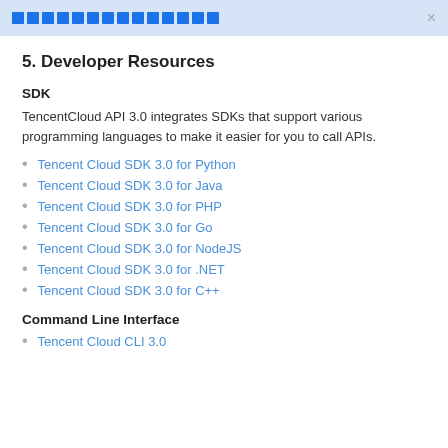■■■■■■■■■■■■■■■■■■■■■■■■■■■■■■■■■■■ ×
5. Developer Resources
SDK
TencentCloud API 3.0 integrates SDKs that support various programming languages to make it easier for you to call APIs.
Tencent Cloud SDK 3.0 for Python
Tencent Cloud SDK 3.0 for Java
Tencent Cloud SDK 3.0 for PHP
Tencent Cloud SDK 3.0 for Go
Tencent Cloud SDK 3.0 for NodeJS
Tencent Cloud SDK 3.0 for .NET
Tencent Cloud SDK 3.0 for C++
Command Line Interface
Tencent Cloud CLI 3.0